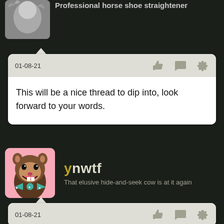[Figure (photo): Partial profile avatar at top, black and white photo of person with feathers]
Professional horse shoe straightener
01-08-21
This will be a nice thread to dip into, look forward to your words.
[Figure (photo): Profile avatar: ferret wearing a teal bow tie with stars, mouth open, pink background]
ynwtf
That elusive hide-and-seek cow is at it again
01-08-21